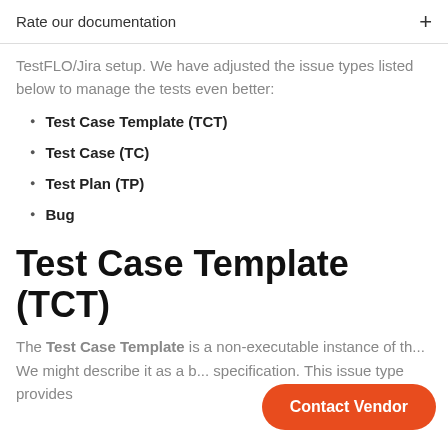Rate our documentation  +
TestFLO/Jira setup. We have adjusted the issue types listed below to manage the tests even better:
Test Case Template (TCT)
Test Case (TC)
Test Plan (TP)
Bug
Test Case Template (TCT)
The Test Case Template is a non-executable instance of th... We might describe it as a b... specification. This issue type provides